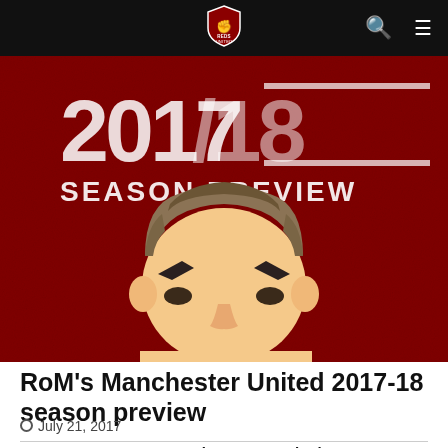Navigation bar with logo, search and menu icons
[Figure (illustration): Red textured background with '2017/18 SEASON PREVIEW' text and a cartoon/illustrated face of a man with dark eyebrows, flat-top haircut, and serious expression — representing Manchester United manager José Mourinho]
RoM's Manchester United 2017-18 season preview
July 21, 2017
CONFIRMED LINE-UP: Leicester vs United